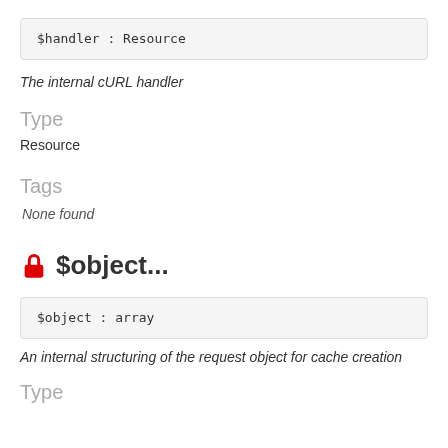$handler : Resource
The internal cURL handler
Type
Resource
Tags
None found
$object...
$object : array
An internal structuring of the request object for cache creation
Type